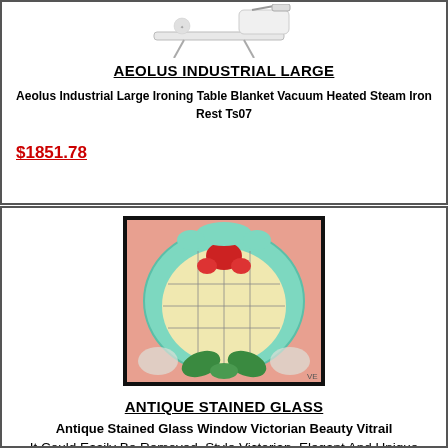[Figure (photo): Aeolus Industrial Large ironing table product image showing the ironing board/table from above]
AEOLUS INDUSTRIAL LARGE
Aeolus Industrial Large Ironing Table Blanket Vacuum Heated Steam Iron Rest Ts07
$1851.78
[Figure (photo): Antique stained glass window panel with Victorian Beauty Vitrail design, featuring aqua green border, central cream/yellow oval, red floral motif at top, and green leaves at bottom, with pink/rose corners]
ANTIQUE STAINED GLASS
Antique Stained Glass Window Victorian Beauty Vitrail
It Could Easily Be Removed. Style Victorian. Elegant And Unique Stained Glass. Colors Deep Aqua Above